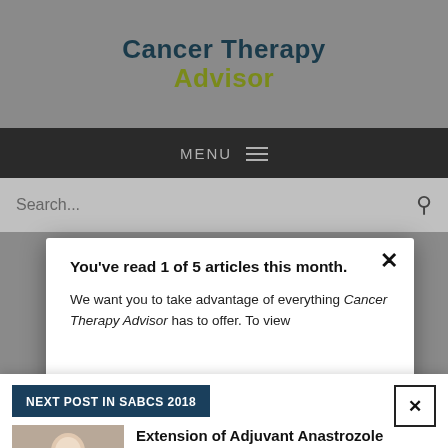Cancer Therapy Advisor
MENU
Search...
You've read 1 of 5 articles this month.

We want you to take advantage of everything Cancer Therapy Advisor has to offer. To view
NEXT POST IN SABCS 2018
Extension of Adjuvant Anastrozole Regimen to 10 Years Yields Higher DFS, but Not OS
Addressing Unmet Needs in Advanced Endometrial Cancer: The